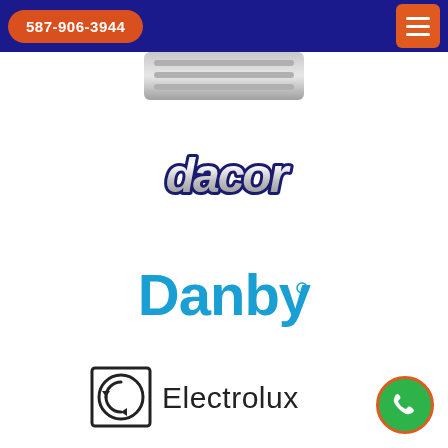587-906-3944
[Figure (logo): Partial appliance image at top of page]
[Figure (logo): Dacor brand logo in chrome/metallic italic style]
[Figure (logo): Danby brand logo in bold blue text]
[Figure (logo): Electrolux brand logo with square icon and text]